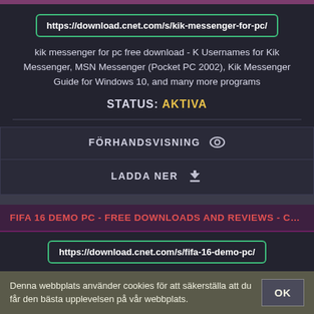https://download.cnet.com/s/kik-messenger-for-pc/
kik messenger for pc free download - K Usernames for Kik Messenger, MSN Messenger (Pocket PC 2002), Kik Messenger Guide for Windows 10, and many more programs
STATUS: AKTIVA
FÖRHANDSVISNING
LADDA NER
FIFA 16 DEMO PC - FREE DOWNLOADS AND REVIEWS - CNET ...
https://download.cnet.com/s/fifa-16-demo-pc/
FIFA 2001 Major League Soccer demo Free to try Choose from over 50 Nations to use and 17 different leagues in FA So...
Denna webbplats använder cookies för att säkerställa att du får den bästa upplevelsen på vår webbplats.